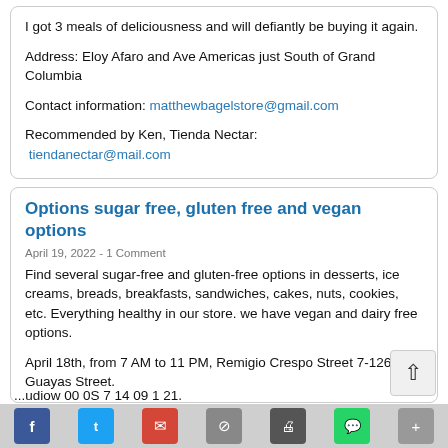I got 3 meals of deliciousness and will defiantly be buying it again.
Address: Eloy Afaro and Ave Americas just South of Grand Columbia
Contact information: matthewbagelstore@gmail.com
Recommended by Ken, Tienda Nectar:
 tiendanectar@mail.com
Options sugar free, gluten free and vegan options
April 19, 2022 - 1 Comment
Find several sugar-free and gluten-free options in desserts, ice creams, breads, breakfasts, sandwiches, cakes, nuts, cookies, etc. Everything healthy in our store. we have vegan and dairy free options.
April 18th, from 7 AM to 11 PM, Remigio Crespo Street 7-126 and Guayas Street.
...udiow 00 0S 7 14 09 1 21.